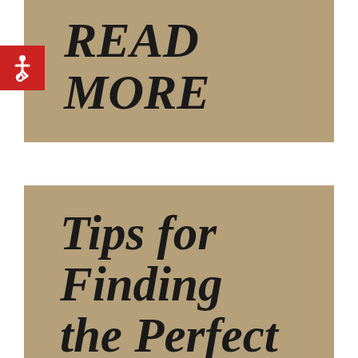[Figure (illustration): Tan/khaki colored card with large bold italic text reading 'READ MORE' in black. A red square with a white wheelchair accessibility icon overlays the left side.]
[Figure (illustration): Tan/khaki colored card with large bold italic text reading 'Tips for Finding the Perfect' in black, partially cut off at the bottom.]